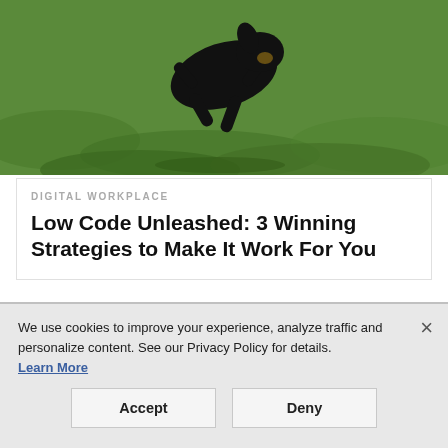[Figure (photo): A black dog running or jumping over green grass, photographed from behind/above.]
DIGITAL WORKPLACE
Low Code Unleashed: 3 Winning Strategies to Make It Work For You
[Figure (photo): Editorial banner with dark purple label reading EDITORIAL and a woman with dark hair raising her fist visible against a bright purple/magenta background.]
We use cookies to improve your experience, analyze traffic and personalize content. See our Privacy Policy for details. Learn More
Accept
Deny